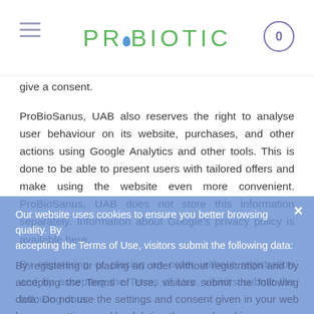PROBIOTIC
give a consent.
ProBioSanus, UAB also reserves the right to analyse user behaviour on its website, purchases, and other actions using Google Analytics and other tools. This is done to be able to present users with tailored offers and make using the website even more convenient. ProBioSanus, UAB does not store this information separately. Information about Google's privacy policy is available here.
Our website uses cookies to ensure you better browsing quality. By accepting the Terms of Use, visitors submit the following data:
By registering or placing an order without registration and by accepting the Terms of Use, visitors submit the following data: Do not use the settings and consent given in your web browser settings and by deleting the saved cookies.
The buyer's and/or user's name and last name, e-mail address, phone number, address, consent to receive information.